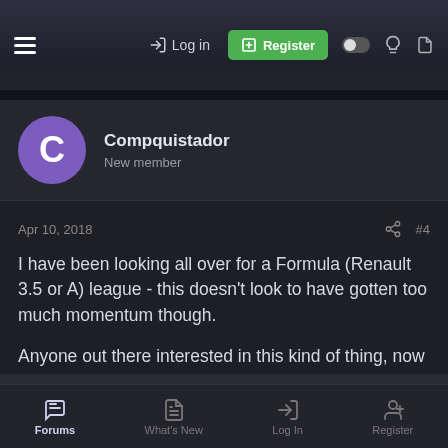Log in | Register
Compquistador
New member
Apr 10, 2018  #4
I have been looking all over for a Formula (Renault 3.5 or A) league - this doesn't look to have gotten too much momentum though.

Anyone out there interested in this kind of thing, now that we're (mostly) patched up?
You must log in or register to reply here.
Forums | What's New | Log In | Register